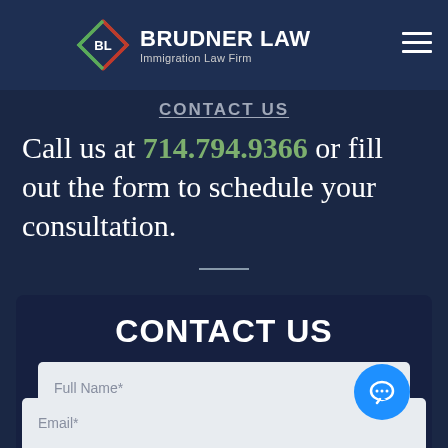[Figure (logo): Brudner Law logo with diamond shape and BL initials]
BRUDNER LAW
Immigration Law Firm
CONTACT US
Call us at 714.794.9366 or fill out the form to schedule your consultation.
CONTACT US
Full Name*
Email*